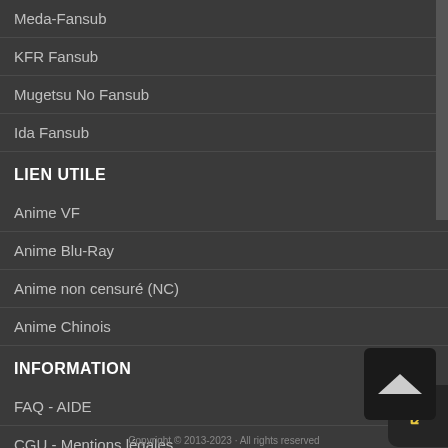Meda-Fansub
KFR Fansub
Mugetsu No Fansub
Ida Fansub
LIEN UTILE
Anime VF
Anime Blu-Ray
Anime non censuré (NC)
Anime Chinois
INFORMATION
FAQ - AIDE
CGU - Mentions légales
[Figure (other): Color theme swatches: white outline, light gray, red, dark gray, mauve, black, blue, white]
[Figure (other): Scroll to top button with upward chevron icon]
Copyright © 2013-2023 · All rights reserved